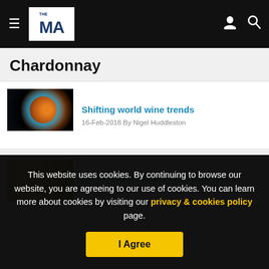THE MA — navigation header with hamburger menu, logo, user icon, search icon
Chardonnay
Shifting world wine trends
16-Feb-2018 By Nigel Huddleston
Brexit threat to sparkling wine sales boom
This website uses cookies. By continuing to browse our website, you are agreeing to our use of cookies. You can learn more about cookies by visiting our privacy & cookies policy page.
I Agree